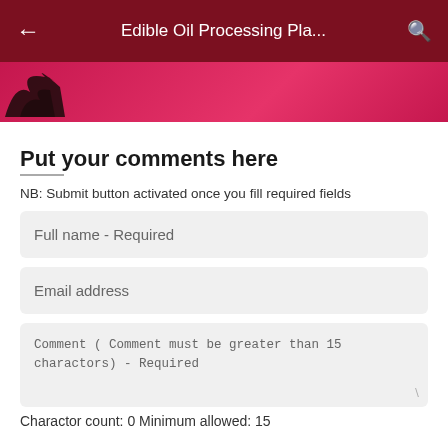Edible Oil Processing Pla...
[Figure (illustration): Banner image with dark pink/crimson background and a dark bird/figure silhouette on the left side]
Put your comments here
NB: Submit button activated once you fill required fields
Full name - Required
Email address
Comment ( Comment must be greater than 15 charactors)  - Required
Charactor count: 0 Minimum allowed: 15